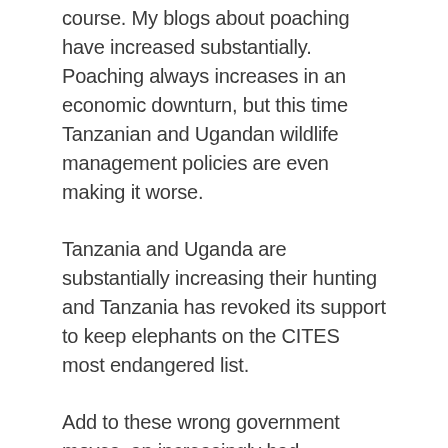course. My blogs about poaching have increased substantially. Poaching always increases in an economic downturn, but this time Tanzanian and Ugandan wildlife management policies are even making it worse.
Tanzania and Uganda are substantially increasing their hunting and Tanzania has revoked its support to keep elephants on the CITES most endangered list.
Add to these wrong government moves, an increasingly bad approach being taken by international wildlife organizations, and we are creating the perfect storm for successful poaching.